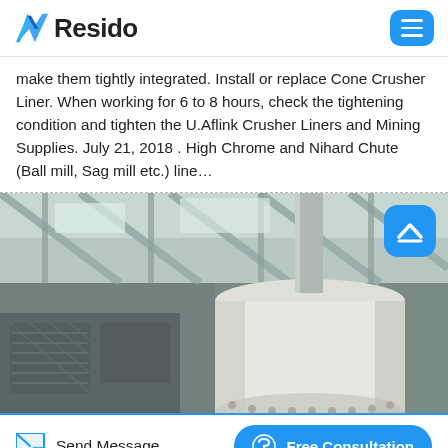Resido
make them tightly integrated. Install or replace Cone Crusher Liner. When working for 6 to 8 hours, check the tightening condition and tighten the U.Aflink Crusher Liners and Mining Supplies. July 21, 2018 . High Chrome and Nihard Chute (Ball mill, Sag mill etc.) line…
[Figure (photo): Industrial cone crusher or large cylindrical machinery component photographed from below inside a factory/warehouse, showing ceiling structure and heavy equipment.]
Send Message | Free Consultation